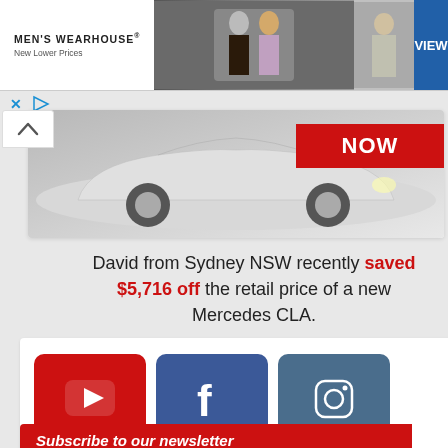[Figure (other): Men's Wearhouse ad banner with couple in formal wear and man in gray suit, VIEW button]
[Figure (other): Car advertisement showing Mercedes CLA with NOW button and savings message]
David from Sydney NSW recently saved $5,716 off the retail price of a new Mercedes CLA.
[Figure (infographic): Social media follower counts: YouTube 160,000, Facebook 20,270, Instagram 1,364]
[Figure (other): Subscribe to our newsletter bar in red]